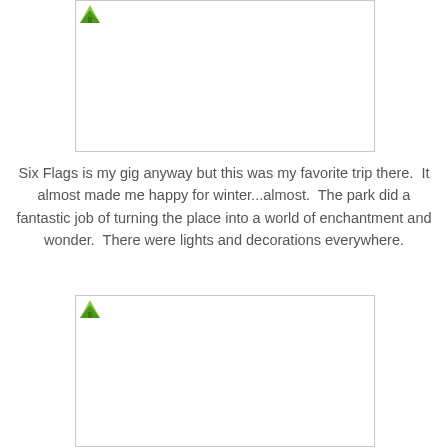[Figure (photo): Placeholder image (broken/unloaded) at top of page]
Six Flags is my gig anyway but this was my favorite trip there.  It almost made me happy for winter...almost.  The park did a fantastic job of turning the place into a world of enchantment and wonder.  There were lights and decorations everywhere.
[Figure (photo): Placeholder image (broken/unloaded) at bottom of page]